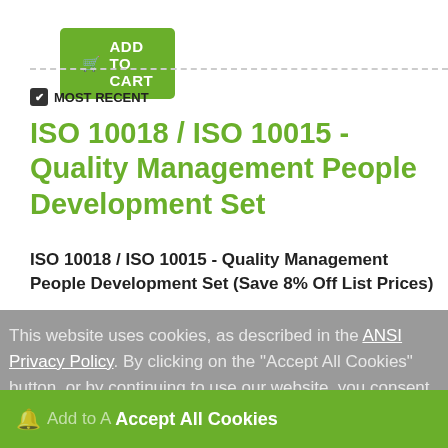ADD TO CART
MOST RECENT
ISO 10018 / ISO 10015 - Quality Management People Development Set
ISO 10018 / ISO 10015 - Quality Management People Development Set (Save 8% Off List Prices)
This website uses cookies, as described in the ANSI Privacy Policy. By clicking on the "Accept All Cookies" button, or by continuing to use our website, you consent to all cookies.
International Organization for Standardization [ISO]
Add to A... Accept All Cookies